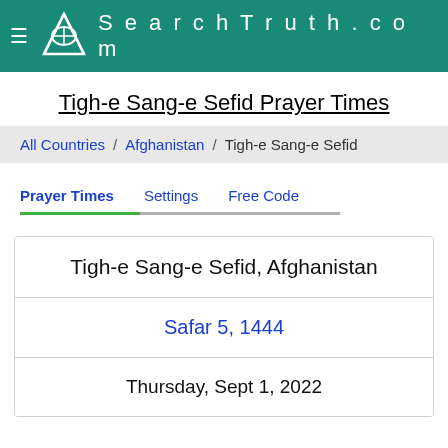SearchTruth.com
Tigh-e Sang-e Sefid Prayer Times
All Countries / Afghanistan / Tigh-e Sang-e Sefid
Prayer Times   Settings   Free Code
Tigh-e Sang-e Sefid, Afghanistan
Safar 5, 1444
Thursday, Sept 1, 2022